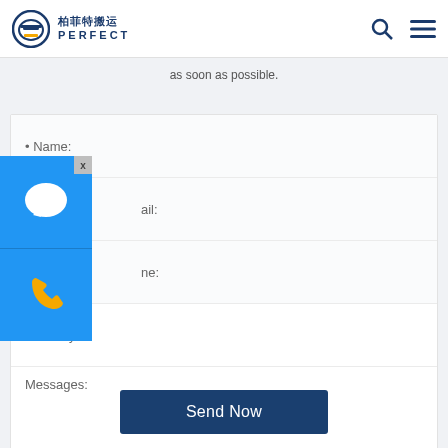[Figure (logo): Perfect Peiyun shipping company logo with Chinese characters 柏菲特搬运 and PERFECT text in dark blue]
as soon as possible.
• Name:
ail:
ne:
*Country:
Messages:
Send Now